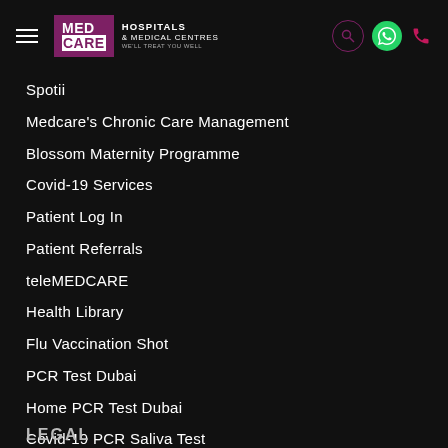MED CARE Hospitals & Medical Centres — We'll Treat You Well
Spotii
Medcare's Chronic Care Management
Blossom Maternity Programme
Covid-19 Services
Patient Log In
Patient Referrals
teleMEDCARE
Health Library
Flu Vaccination Shot
PCR Test Dubai
Home PCR Test Dubai
Covid-19 PCR Saliva Test
Vitamin Infusion Therapy
LEGAL